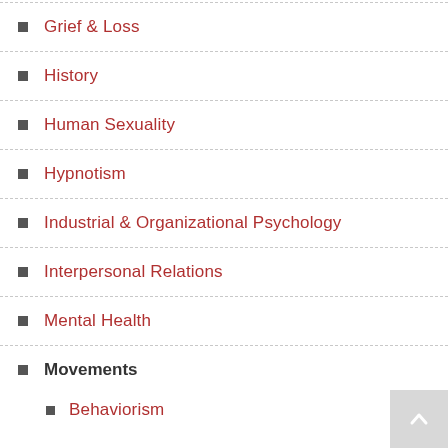Grief & Loss
History
Human Sexuality
Hypnotism
Industrial & Organizational Psychology
Interpersonal Relations
Mental Health
Movements
Behaviorism